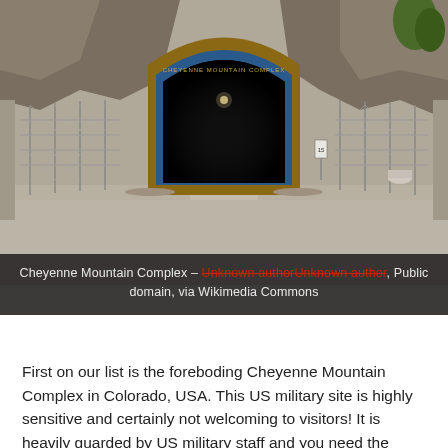[Figure (photo): Photograph of the entrance to the Cheyenne Mountain Complex. Shows a large arched tunnel entrance with a dark interior, framed by a brown/tan arch surround with signage. Chain-link security fences line both sides of the road leading to the entrance. Rocky mountain terrain is visible above the tunnel. The foreground shows a wide concrete/asphalt road area.]
Cheyenne Mountain Complex – Unknown authorUnknown author, Public domain, via Wikimedia Commons
First on our list is the foreboding Cheyenne Mountain Complex in Colorado, USA. This US military site is highly sensitive and certainly not welcoming to visitors! It is heavily guarded by US military staff and you need the highest-level clearance to even get